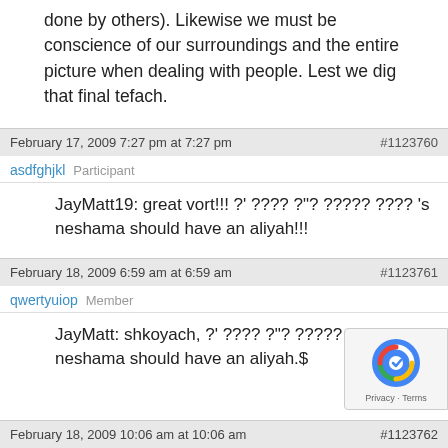done by others). Likewise we must be conscience of our surroundings and the entire picture when dealing with people. Lest we dig that final tefach.
February 17, 2009 7:27 pm at 7:27 pm	#1123760
asdfghjkl   Participant
JayMatt19: great vort!!! ?' ???? ?"? ????? ???? 's neshama should have an aliyah!!!
February 18, 2009 6:59 am at 6:59 am	#1123761
qwertyuiop   Member
JayMatt: shkoyach, ?' ???? ?"? ????? ???? neshama should have an aliyah.$
February 18, 2009 10:06 am at 10:06 am	#1123762